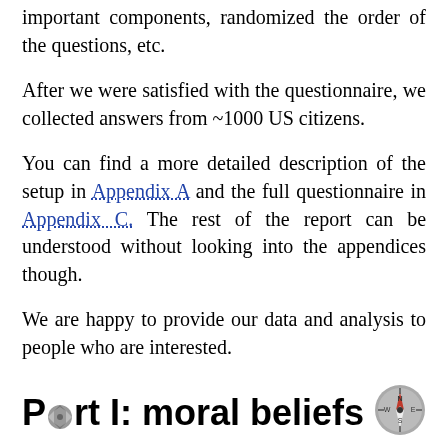important components, randomized the order of the questions, etc.
After we were satisfied with the questionnaire, we collected answers from ~1000 US citizens.
You can find a more detailed description of the setup in Appendix A and the full questionnaire in Appendix C. The rest of the report can be understood without looking into the appendices though.
We are happy to provide our data and analysis to people who are interested.
Part I: moral beliefs